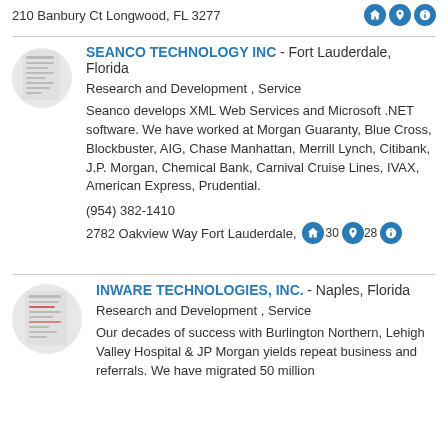210 Banbury Ct Longwood, FL 3277...
SEANCO TECHNOLOGY INC - Fort Lauderdale, Florida
Research and Development , Service
Seanco develops XML Web Services and Microsoft .NET software. We have worked at Morgan Guaranty, Blue Cross, Blockbuster, AIG, Chase Manhattan, Merrill Lynch, Citibank, J.P. Morgan, Chemical Bank, Carnival Cruise Lines, IVAX, American Express, Prudential.
(954) 382-1410
2782 Oakview Way Fort Lauderdale, 33...
INWARE TECHNOLOGIES, INC. - Naples, Florida
Research and Development , Service
Our decades of success with Burlington Northern, Lehigh Valley Hospital & JP Morgan yields repeat business and referrals. We have migrated 50 million...